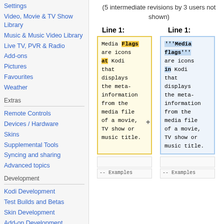Settings
Video, Movie & TV Show Library
Music & Music Video Library
Live TV, PVR & Radio
Add-ons
Pictures
Favourites
Weather
Extras
Remote Controls
Devices / Hardware
Skins
Supplemental Tools
Syncing and sharing
Advanced topics
Development
Kodi Development
Test Builds and Betas
Skin Development
Add-on Development
(5 intermediate revisions by 3 users not shown)
Line 1: (left) vs Line 1: (right)
Left box: Media Flags are icons at Kodi that displays the meta-information from the media file of a movie, TV show or music title.
Right box: '''Media flags''' are icons in Kodi that displays the meta-information from the media file of a movie, TV show or music title.